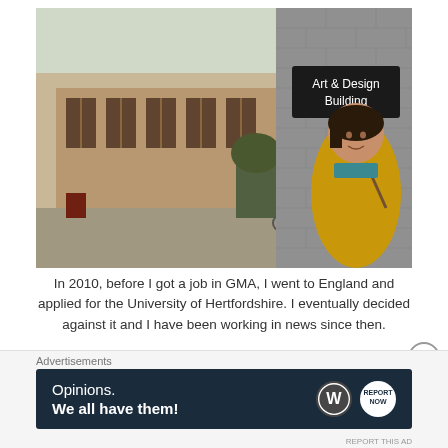[Figure (photo): A young woman in a yellow jacket stands in front of the Art & Design Building sign on a brick wall, with a campus building visible in the background.]
In 2010, before I got a job in GMA, I went to England and applied for the University of Hertfordshire. I eventually decided against it and I have been working in news since then.
Advertisements
[Figure (other): Advertisement banner with dark navy background: 'Opinions. We all have them!' with WordPress logo and another circular logo on the right.]